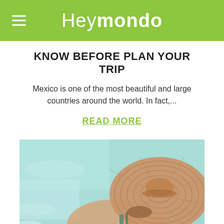Heymondo
KNOW BEFORE PLAN YOUR TRIP
Mexico is one of the most beautiful and large countries around the world. In fact,...
READ MORE
[Figure (photo): Aerial/top-down view of a person wearing a large woven straw hat floating in a turquoise pool or ocean, holding what appears to be a drink]